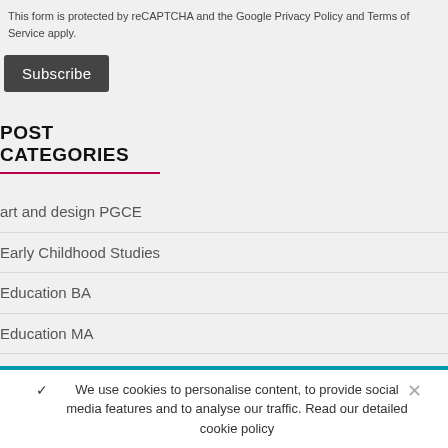This form is protected by reCAPTCHA and the Google Privacy Policy and Terms of Service apply.
Subscribe
POST CATEGORIES
art and design PGCE
Early Childhood Studies
Education BA
Education MA
We use cookies to personalise content, to provide social media features and to analyse our traffic. Read our detailed cookie policy